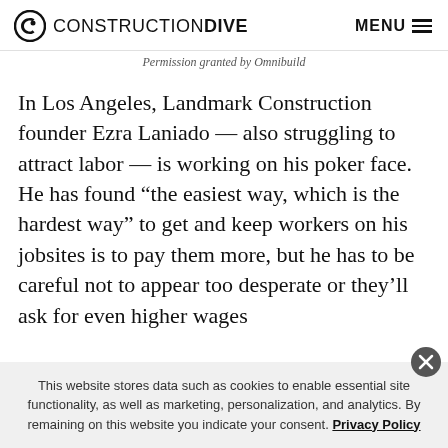CONSTRUCTION DIVE   MENU
Permission granted by Omnibuild
In Los Angeles, Landmark Construction founder Ezra Laniado — also struggling to attract labor — is working on his poker face. He has found “the easiest way, which is the hardest way” to get and keep workers on his jobsites is to pay them more, but he has to be careful not to appear too desperate or they’ll ask for even higher wages
This website stores data such as cookies to enable essential site functionality, as well as marketing, personalization, and analytics. By remaining on this website you indicate your consent. Privacy Policy